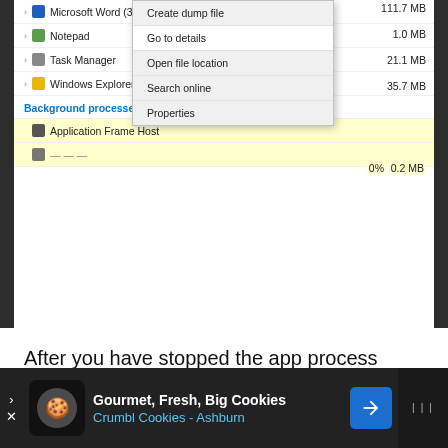[Figure (screenshot): Windows Task Manager screenshot showing process list with Microsoft Word (32 bit), Notepad, Task Manager, Windows Explorer (2) entries, and Background processes (51) section with Application Frame Host. A right-click context menu is visible with options: Create dump file, Go to details, Open file location, Search online, Properties. Memory column shows values: 111.7 MB, 1.0 MB, 21.1 MB, 35.7 MB, 0.2 MB. CPU column shows 0%.]
After you have stopped the app process using the file or folder, try deleting the file and see if you can or not.
[Figure (screenshot): Advertisement banner at bottom: Gourmet, Fresh, Big Cookies - Crumbl Cookies - Ashburn with cookie icon, navigation arrow icon, and dots icon on right.]